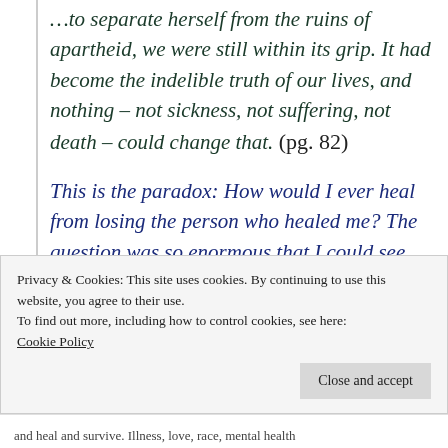…to separate herself from the ruins of apartheid, we were still within its grip. It had become the indelible truth of our lives, and nothing – not sickness, not suffering, not death – could change that. (pg. 82)
This is the paradox: How would I ever heal from losing the person who healed me? The question was so enormous that I could see only my entire life, everything I know, filling it. (pg. 95)
Privacy & Cookies: This site uses cookies. By continuing to use this website, you agree to their use.
To find out more, including how to control cookies, see here: Cookie Policy
Close and accept
and heal and survive. Illness, love, race, mental health